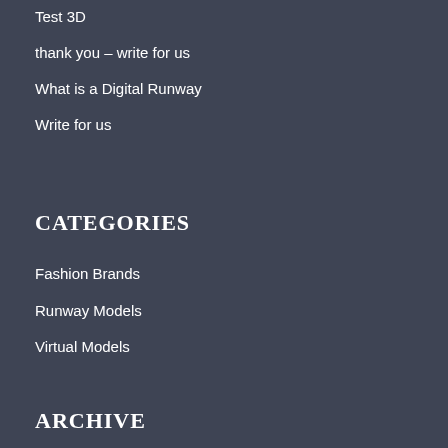Test 3D
thank you – write for us
What is a Digital Runway
Write for us
CATEGORIES
Fashion Brands
Runway Models
Virtual Models
ARCHIVE